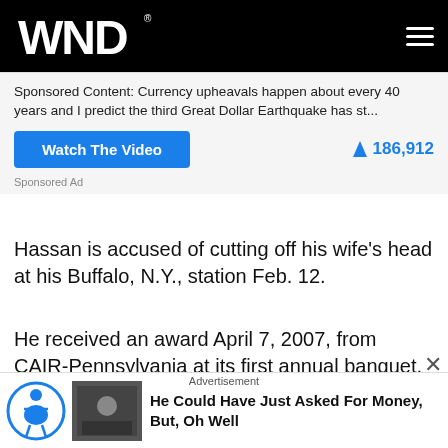WND
Sponsored Content: Currency upheavals happen about every 40 years and I predict the third Great Dollar Earthquake has st...
Watch The Video   186,912
Sponsored Ad
Hassan is accused of cutting off his wife's head at his Buffalo, N.Y., station Feb. 12.
He received an award April 7, 2007, from CAIR-Pennsylvania at its first annual banquet, a fundraiser at the Hilton Philadelphia. CAIR-PA Chairman Iftekhar Hussain and CAIR National Chairman Parvez Ahmed
Advertisement
He Could Have Just Asked For Money, But, Oh Well